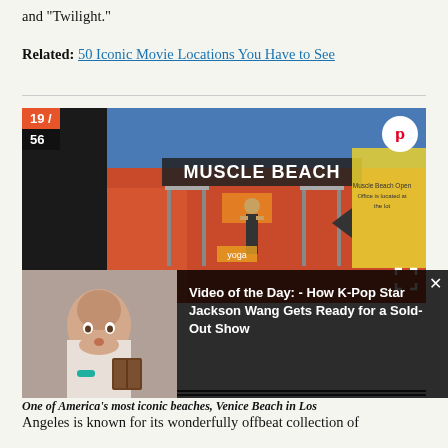and "Twilight."
Related: 50 Iconic Movie Locations You Have to See
[Figure (photo): Photo of Muscle Beach in Venice Beach, Los Angeles, showing people working out on outdoor gym equipment under a sign reading 'Muscle Beach'. A yellow directional sign is also visible.]
[Figure (screenshot): Video overlay showing a young woman looking surprised, with text 'Video of the Day: - How K-Pop Star Jackson Wang Gets Ready for a Sold-Out Show']
One of America's most iconic beaches, Venice Beach in Los Angeles
Angeles is known for its wonderfully offbeat collection of